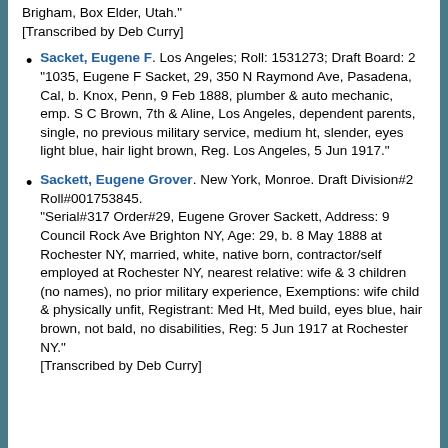Brigham, Box Elder, Utah."
[Transcribed by Deb Curry]
Sacket, Eugene F. Los Angeles; Roll: 1531273; Draft Board: 2
"1035, Eugene F Sacket, 29, 350 N Raymond Ave, Pasadena, Cal, b. Knox, Penn, 9 Feb 1888, plumber & auto mechanic, emp. S C Brown, 7th & Aline, Los Angeles, dependent parents, single, no previous military service, medium ht, slender, eyes light blue, hair light brown, Reg. Los Angeles, 5 Jun 1917."
Sackett, Eugene Grover. New York, Monroe. Draft Division#2 Roll#001753845.
"Serial#317 Order#29, Eugene Grover Sackett, Address: 9 Council Rock Ave Brighton NY, Age: 29, b. 8 May 1888 at Rochester NY, married, white, native born, contractor/self employed at Rochester NY, nearest relative: wife & 3 children (no names), no prior military experience, Exemptions: wife child & physically unfit, Registrant: Med Ht, Med build, eyes blue, hair brown, not bald, no disabilities, Reg: 5 Jun 1917 at Rochester NY."
[Transcribed by Deb Curry]